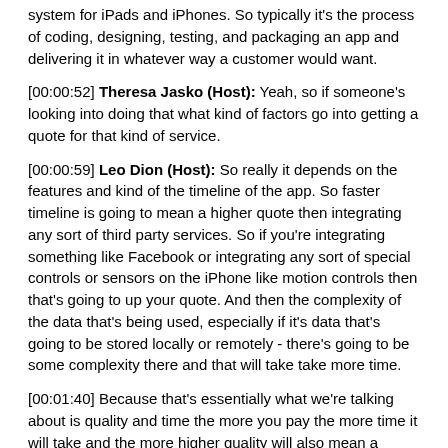system for iPads and iPhones. So typically it's the process of coding, designing, testing, and packaging an app and delivering it in whatever way a customer would want.
[00:00:52] Theresa Jasko (Host): Yeah, so if someone's looking into doing that what kind of factors go into getting a quote for that kind of service.
[00:00:59] Leo Dion (Host): So really it depends on the features and kind of the timeline of the app. So faster timeline is going to mean a higher quote then integrating any sort of third party services. So if you're integrating something like Facebook or integrating any sort of special controls or sensors on the iPhone like motion controls then that's going to up your quote. And then the complexity of the data that's being used, especially if it's data that's going to be stored locally or remotely - there's going to be some complexity there and that will take take more time.
[00:01:40] Because that's essentially what we're talking about is quality and time the more you pay the more time it will take and the more higher quality will also mean a higher quote for those Services because that quality also takes time of course. So offline capabilities - not a lot of apps necessarily need that but a lot of apps want to have the